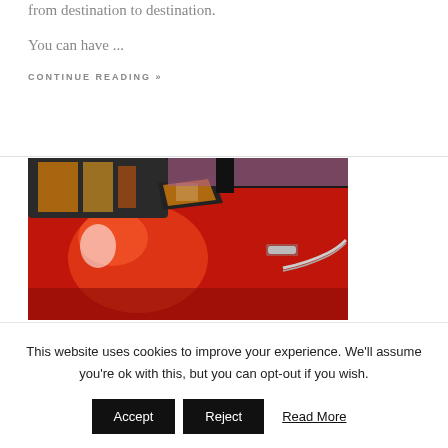from destination to destination.
You can have ...
CONTINUE READING »
[Figure (photo): Close-up photo of a red car door and side mirror, showing reflections and chrome details.]
This website uses cookies to improve your experience. We'll assume you're ok with this, but you can opt-out if you wish.
Accept | Reject | Read More